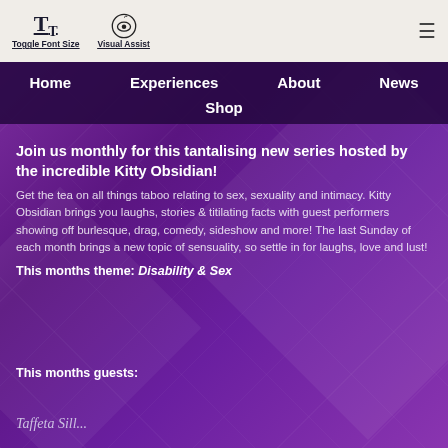Toggle Font Size  Visual Assist
Join us monthly for this tantalising new series hosted by the incredible Kitty Obsidian!
Get the tea on all things taboo relating to sex, sexuality and intimacy. Kitty Obsidian brings you laughs, stories & titilating facts with guest performers showing off burlesque, drag, comedy, sideshow and more! The last Sunday of each month brings a new topic of sensuality, so settle in for laughs, love and lust!
This months theme: Disability & Sex
This months guests:
Taffeta Sill...